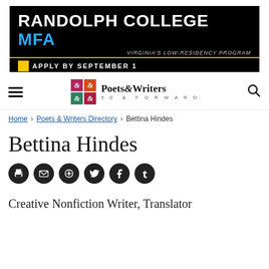[Figure (illustration): Randolph College MFA advertisement banner. Black background with white text 'RANDOLPH COLLEGE' and blue text 'MFA', tagline 'VIRGINIA'S LOW-RESIDENCY PROGRAM', gold line, 'APPLY BY SEPTEMBER 1' with yellow square, blue line, and a row of portrait photos.]
[Figure (logo): Poets & Writers 50 & Forward logo with colorful grid icon and serif text.]
Home › Poets & Writers Directory › Bettina Hindes
Bettina Hindes
[Figure (infographic): Row of six circular social media icons: print, email, add, Twitter, Facebook, Tumblr.]
Creative Nonfiction Writer, Translator